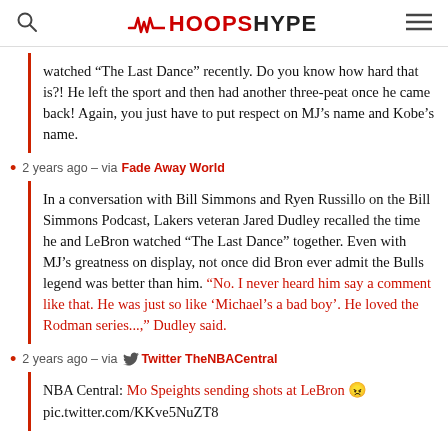HOOPSHYPE
watched “The Last Dance” recently. Do you know how hard that is?! He left the sport and then had another three-peat once he came back! Again, you just have to put respect on MJ’s name and Kobe’s name.
2 years ago – via Fade Away World
In a conversation with Bill Simmons and Ryen Russillo on the Bill Simmons Podcast, Lakers veteran Jared Dudley recalled the time he and LeBron watched “The Last Dance” together. Even with MJ’s greatness on display, not once did Bron ever admit the Bulls legend was better than him. “No. I never heard him say a comment like that. He was just so like ‘Michael’s a bad boy’. He loved the Rodman series...,” Dudley said.
2 years ago – via Twitter TheNBACentral
NBA Central: Mo Speights sending shots at LeBron 😬 pic.twitter.com/KKve5NuZT8